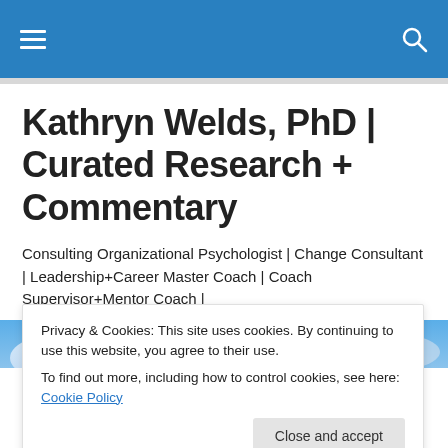Kathryn Welds, PhD | Curated Research + Commentary
Consulting Organizational Psychologist | Change Consultant | Leadership+Career Master Coach | Coach Supervisor+Mentor Coach |
[Figure (photo): Sky and clouds background image]
Privacy & Cookies: This site uses cookies. By continuing to use this website, you agree to their use.
To find out more, including how to control cookies, see here: Cookie Policy
Close and accept
Organizational Trust vs "Only